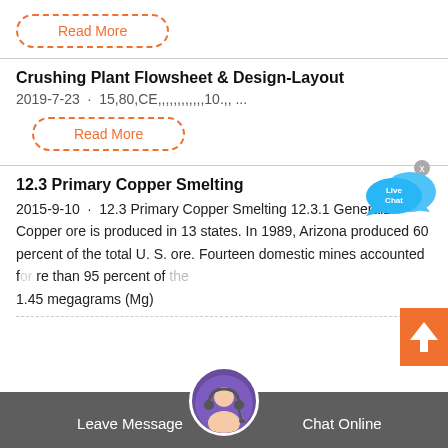Read More
Crushing Plant Flowsheet & Design-Layout
2019-7-23 · 15,80,CE,,,,,,,,,,,,10.,, ...
Read More
[Figure (illustration): Live Chat bubble icon with blue speech bubbles and X close button]
12.3 Primary Copper Smelting
2015-9-10 · 12.3 Primary Copper Smelting 12.3.1 General1 Copper ore is produced in 13 states. In 1989, Arizona produced 60 percent of the total U. S. ore. Fourteen domestic mines accounted for more than 95 percent of the 1.45 megagrams (Mg)
[Figure (illustration): Orange back-to-top arrow button on right side]
Leave Message   Chat Online